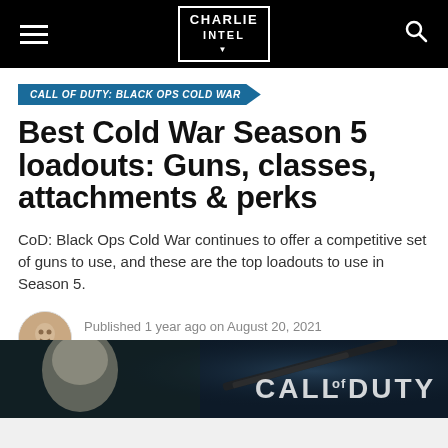CHARLIE INTEL
CALL OF DUTY: BLACK OPS COLD WAR
Best Cold War Season 5 loadouts: Guns, classes, attachments & perks
CoD: Black Ops Cold War continues to offer a competitive set of guns to use, and these are the top loadouts to use in Season 5.
Published 1 year ago on August 20, 2021
By Andrew Highton
[Figure (screenshot): Call of Duty Black Ops Cold War hero image showing a character and game logo]